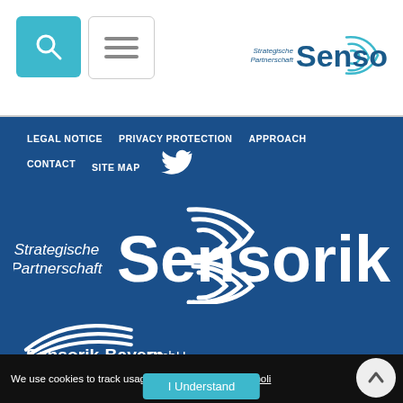[Figure (logo): Strategische Partnerschaft Sensorik logo in teal/dark blue in the header]
[Figure (logo): Search button (teal) and hamburger menu button in the header]
LEGAL NOTICE   PRIVACY PROTECTION   APPROACH   CONTACT   SITE MAP
[Figure (logo): Twitter bird icon in white on dark blue background]
[Figure (logo): Large white Strategische Partnerschaft Sensorik logo on dark blue background]
[Figure (logo): Sensorik-Bayern GmbH logo with arc lines on dark blue background]
We use cookies to track usage and preferences. Our poli
I Understand